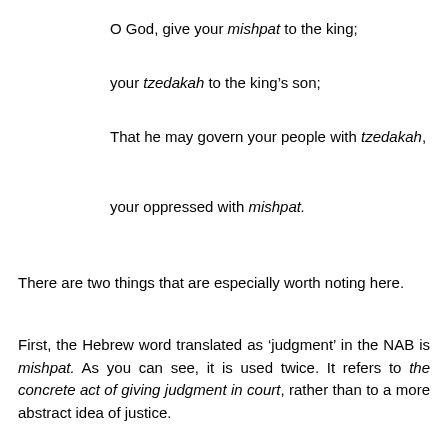O God, give your mishpat to the king;
your tzedakah to the king's son;
That he may govern your people with tzedakah,
your oppressed with mishpat.
There are two things that are especially worth noting here.
First, the Hebrew word translated as ‘judgment’ in the NAB is mishpat. As you can see, it is used twice. It refers to the concrete act of giving judgment in court, rather than to a more abstract idea of justice.